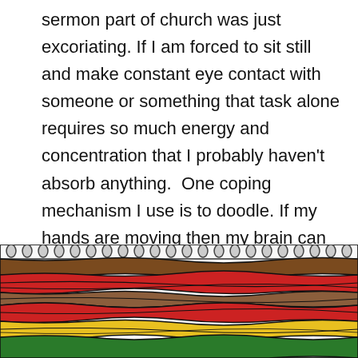sermon part of church was just excoriating. If I am forced to sit still and make constant eye contact with someone or something that task alone requires so much energy and concentration that I probably haven't absorb anything.  One coping mechanism I use is to doodle. If my hands are moving then my brain can focus. This was before mind mapping, journaling and other visual note taking systems were in vogue. Anyway today's drawing is inspired by those mindless doodles.
[Figure (illustration): A colorful doodle drawing on a spiral notebook page showing wavy horizontal bands of color including brown, red, yellow, and green with black outlines, and a spiral binding visible at the top.]